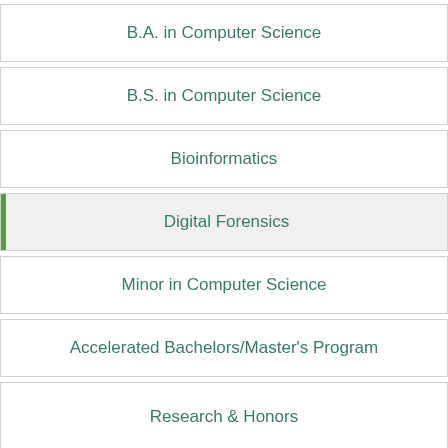B.A. in Computer Science
B.S. in Computer Science
Bioinformatics
Digital Forensics
Minor in Computer Science
Accelerated Bachelors/Master's Program
Research & Honors
Course Prerequisites